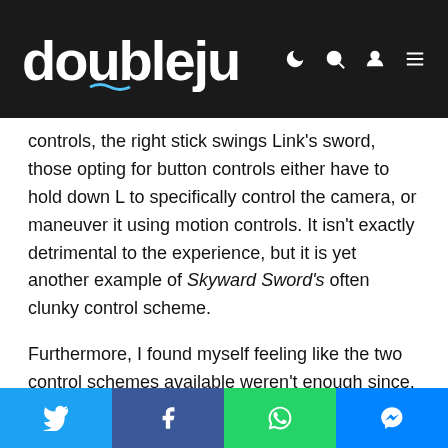doublejump
controls, the right stick swings Link's sword, those opting for button controls either have to hold down L to specifically control the camera, or maneuver it using motion controls. It isn't exactly detrimental to the experience, but it is yet another example of Skyward Sword's often clunky control scheme.
Furthermore, I found myself feeling like the two control schemes available weren't enough since, unfortunately, either scheme is all or nothing. Only buttons or only motion controls, with no in-between.
In my case, motion controls were my preferred method for using the sword, but piloting the loftwing and skydiving